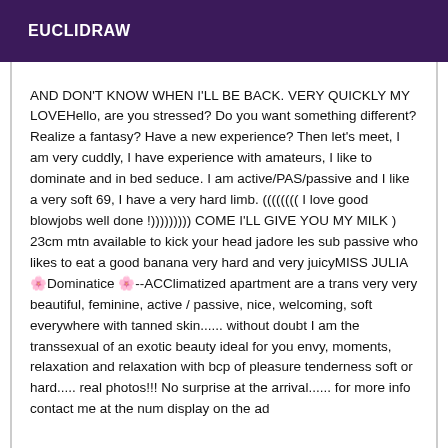EUCLIDRAW
AND DON'T KNOW WHEN I'LL BE BACK. VERY QUICKLY MY LOVEHello, are you stressed? Do you want something different? Realize a fantasy? Have a new experience? Then let's meet, I am very cuddly, I have experience with amateurs, I like to dominate and in bed seduce. I am active/PAS/passive and I like a very soft 69, I have a very hard limb. (((((((( I love good blowjobs well done !)))))))))  COME I'LL GIVE YOU MY MILK ) 23cm mtn available to kick your head jadore les sub passive who likes to eat a good banana very hard and very juicyMISS JULIA🌸Dominatice 🌸--ACClimatized apartment are a trans very very beautiful, feminine, active / passive, nice, welcoming, soft everywhere with tanned skin...... without doubt I am the transsexual of an exotic beauty ideal for you envy, moments, relaxation and relaxation with bcp of pleasure tenderness soft or hard..... real photos!!! No surprise at the arrival...... for more info contact me at the num display on the ad